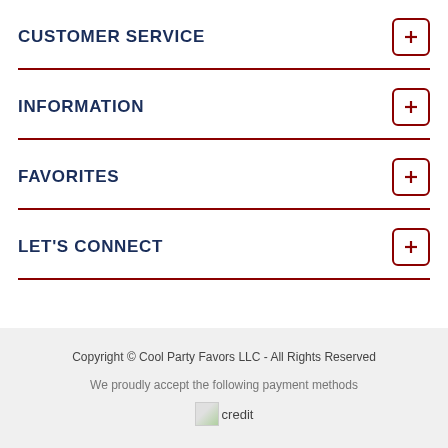CUSTOMER SERVICE
INFORMATION
FAVORITES
LET'S CONNECT
Copyright © Cool Party Favors LLC - All Rights Reserved
We proudly accept the following payment methods
[Figure (other): credit card payment icons placeholder image labeled 'credit']